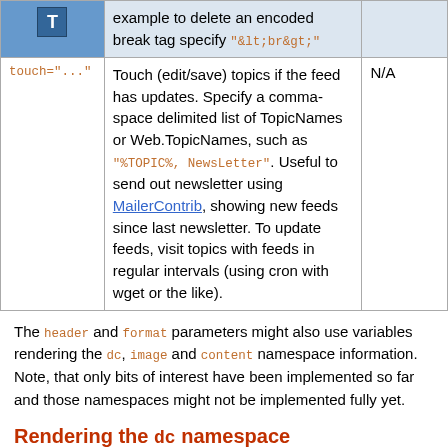|  | Description | Default |
| --- | --- | --- |
|  | example to delete an encoded break tag specify "&lt;br&gt;" |  |
| touch="..." | Touch (edit/save) topics if the feed has updates. Specify a comma-space delimited list of TopicNames or Web.TopicNames, such as "%TOPIC%, NewsLetter". Useful to send out newsletter using MailerContrib, showing new feeds since last newsletter. To update feeds, visit topics with feeds in regular intervals (using cron with wget or the like). | N/A |
The header and format parameters might also use variables rendering the dc, image and content namespace information. Note, that only bits of interest have been implemented so far and those namespaces might not be implemented fully yet.
Rendering the dc namespace